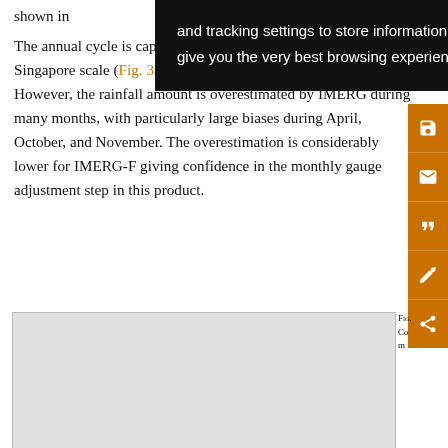shown in ... The annual cycle is captured well by the IMERG products for the Singapore scale (Fig. 3a) as well as for grid cell P5 (Fig. 3b). However, the rainfall amount is overestimated by IMERG during many months, with particularly large biases during April, October, and November. The overestimation is considerably lower for IMERG-F giving confidence in the monthly gauge adjustment step in this product.
[Figure (other): Tooltip overlay with text: 'and tracking settings to store information that help give you the very best browsing experience.']
[Figure (other): Right sidebar with orange background containing save, email, cite, annotation, and share icon buttons]
[Figure (other): Figure panel area (partially visible, gray background)]
Fig. ... Co... m...